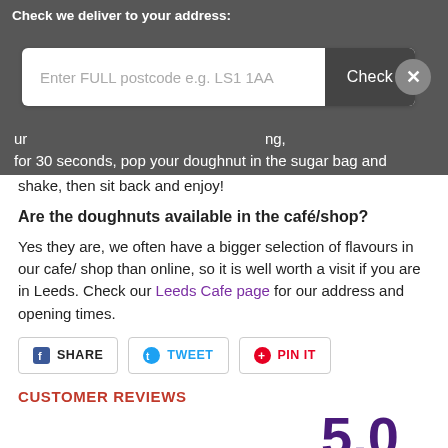We have a video on Facebook on how to sugar and shake your doughnut for the plain doughnut, remove all packaging, ur ng, for 30 seconds, pop your doughnut in the sugar bag and shake, then sit back and enjoy!
Check we deliver to your address:
for 30 seconds, pop your doughnut in the sugar bag and shake, then sit back and enjoy!
Are the doughnuts available in the café/shop?
Yes they are, we often have a bigger selection of flavours in our cafe/ shop than online, so it is well worth a visit if you are in Leeds. Check our Leeds Cafe page for our address and opening times.
SHARE   TWEET   PIN IT
CUSTOMER REVIEWS
5.0
★★★★★
Based on 3 reviews